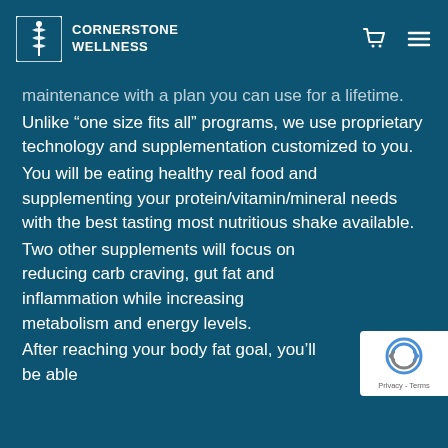CORNERSTONE WELLNESS
maintenance with a plan you can use for a lifetime.
Unlike “one size fits all” programs, we use proprietary technology and supplementation customized to you.
You will be eating healthy real food and supplementing your protein/vitamin/mineral needs with the best tasting most nutritious shake available.
Two other supplements will focus on reducing carb craving, gut fat and inflammation while increasing metabolism and energy levels.
After reaching your body fat goal, you’ll be able